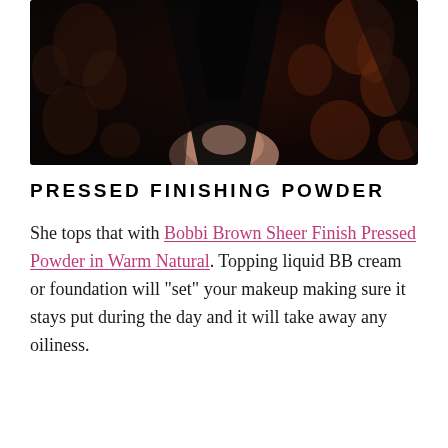[Figure (photo): Cropped photo of a person wearing a dark floral brocade jacket with a deep V-neckline, showing décolletage area. Dark brown/black floral pattern fabric.]
PRESSED FINISHING POWDER
She tops that with Bobbi Brown Sheer Finish Pressed Powder in Warm Natural. Topping liquid BB cream or foundation will “set” your makeup making sure it stays put during the day and it will take away any oiliness.